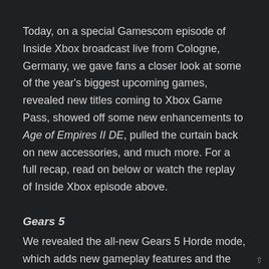Today, on a special Gamescom episode of Inside Xbox broadcast live from Cologne, Germany, we gave fans a closer look at some of the year's biggest upcoming games, revealed new titles coming to Xbox Game Pass, showed off some new enhancements to Age of Empires II DE, pulled the curtain back on new accessories, and much more. For a full recap, read on below or watch the replay of Inside Xbox episode above.
Gears 5
We revealed the all-new Gears 5 Horde mode, which adds new gameplay features and the Ultimate abilities to this signature mode. Every Horde character will have a unique Ultimate ability; this extends to cross-over characters like Sarah Connor from "Terminator Dark Fate," and Kat and Emile from the newly announced Halo: Reach Character Pack